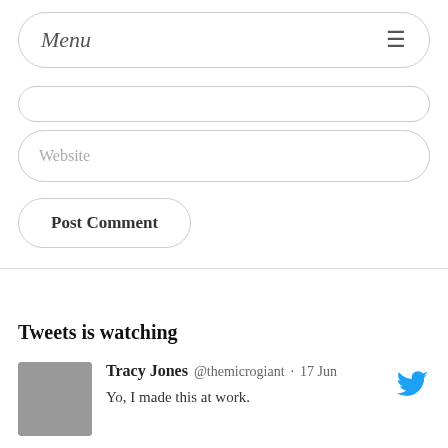Menu
Website
Post Comment
Tweets is watching
Tracy Jones @themicrogiant · 17 Jun
Yo, I made this at work.